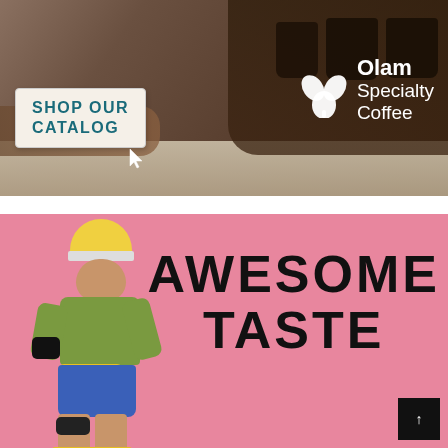[Figure (photo): Top banner showing coffee cupping scene with hands reaching over table with dark coffee in cups, with a white rectangular button overlay saying SHOP OUR CATALOG and an Olam Specialty Coffee logo in white on the right side]
[Figure (photo): Bottom pink banner with a child wearing a helmet, knee pads, elbow pads, green shirt, blue shorts, and a yellow fanny pack on roller skates, with large bold black text reading AWESOME TASTE and a dark up-arrow scroll button in the bottom right corner]